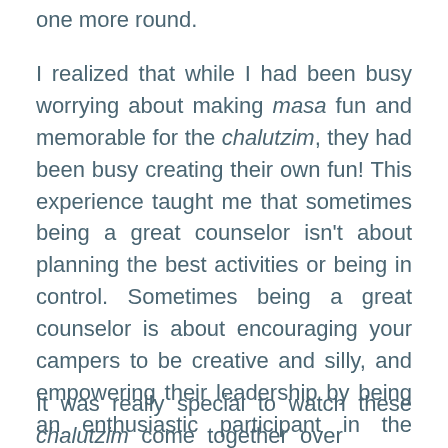one more round.
I realized that while I had been busy worrying about making masa fun and memorable for the chalutzim, they had been busy creating their own fun! This experience taught me that sometimes being a great counselor isn't about planning the best activities or being in control. Sometimes being a great counselor is about encouraging your campers to be creative and silly, and empowering their leadership by being an enthusiastic participant in the games they create themselves.
It was really special to watch these chalutzim come together over